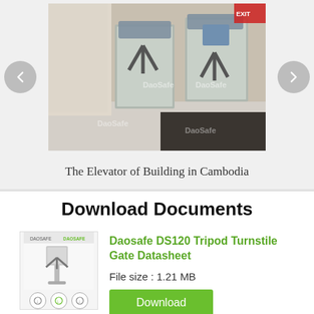[Figure (photo): Photo of turnstile gates installed at the entrance of a building lobby in Cambodia, with DaoSafe watermarks on the image. Navigation arrows (left/right) are visible on either side of the photo.]
The Elevator of Building in Cambodia
Download Documents
[Figure (photo): Thumbnail image of the Daosafe DS120 Tripod Turnstile Gate product datasheet cover, showing a tripod turnstile unit with control icons below it.]
Daosafe DS120 Tripod Turnstile Gate Datasheet
File size : 1.21 MB
Download